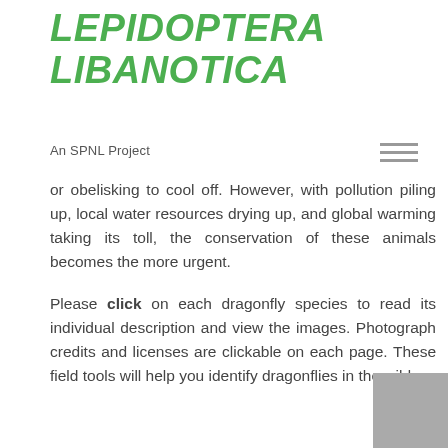LEPIDOPTERA LIBANOTICA
An SPNL Project
or obelisking to cool off. However, with pollution piling up, local water resources drying up, and global warming taking its toll, the conservation of these animals becomes the more urgent.

Please click on each dragonfly species to read its individual description and view the images. Photograph credits and licenses are clickable on each page. These field tools will help you identify dragonflies in the wild.